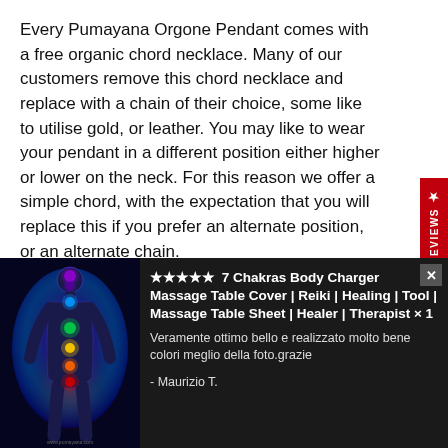Every Pumayana Orgone Pendant comes with a free organic chord necklace. Many of our customers remove this chord necklace and replace with a chain of their choice, some like to utilise gold, or leather. You may like to wear your pendant in a different position either higher or lower on the neck. For this reason we offer a simple chord, with the expectation that you will replace this if you prefer an alternate position, or an alternate chain.
Each Pumayana Orgone Pendant comes beautifully
[Figure (illustration): Review popup overlay on dark background. Left side shows an illustration of a human figure with chakra energy points glowing in multiple colors (purple, blue, green, yellow, orange, red) against a colorful aura background. Right side shows a 5-star review for '7 Chakras Body Charger Massage Table Cover | Reiki | Healing | Tool | Massage Table Sheet | Healer | Therapist × 1' with review text 'Veramente ottimo bello e realizzato molto bene colori meglio della foto.grazie' by Maurizio T.]